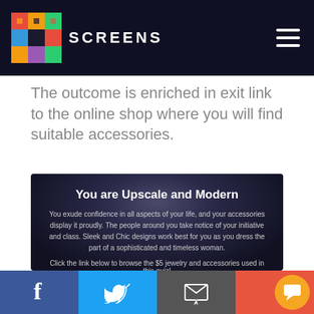SCREENS
The outcome is enriched in exit link to the online shop where you will find suitable accessories.
[Figure (screenshot): Dark card with text 'You are Upscale and Modern' and a photo of a blonde woman wearing a leather jacket and necklace from Paparazzi jewelry brand]
Facebook | Twitter | Email | Chat